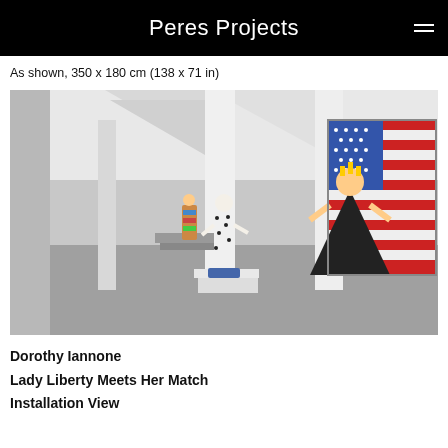Peres Projects
As shown, 350 x 180 cm (138 x 71 in)
[Figure (photo): Gallery installation view showing white gallery space with grey floor. Several sculptures on pedestals in the middle of the room. On the far right, a large painting featuring an American flag with a stylized female figure in front of it. One sculpture in foreground shows a spotted figure on a blue base.]
Dorothy Iannone
Lady Liberty Meets Her Match
Installation View